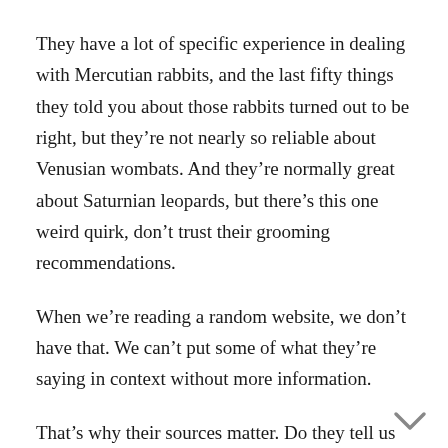They have a lot of specific experience in dealing with Mercutian rabbits, and the last fifty things they told you about those rabbits turned out to be right, but they're not nearly so reliable about Venusian wombats. And they're normally great about Saturnian leopards, but there's this one weird quirk, don't trust their grooming recommendations.
When we're reading a random website, we don't have that. We can't put some of what they're saying in context without more information.
That's why their sources matter. Do they tell us where they're getting their info? If it's unnamed experts and sources, be dubious. (Though there's a link below with some more about how to evaluate